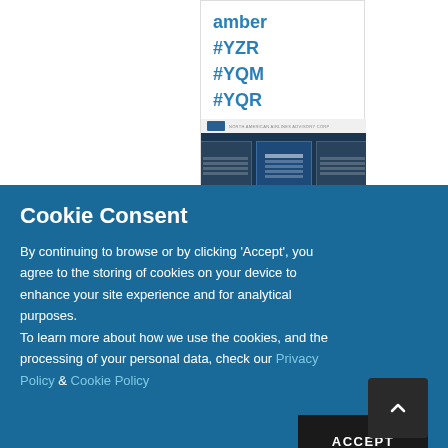[Figure (screenshot): A card/thumbnail showing blue hashtag text (amber, #YZR, #YQM, #YQR) and a dark blue document preview image below]
Cookie Consent
By continuing to browse or by clicking 'Accept', you agree to the storing of cookies on your device to enhance your site experience and for analytical purposes.
To learn more about how we use the cookies, and the processing of your personal data, check our Privacy Policy & Cookie Policy